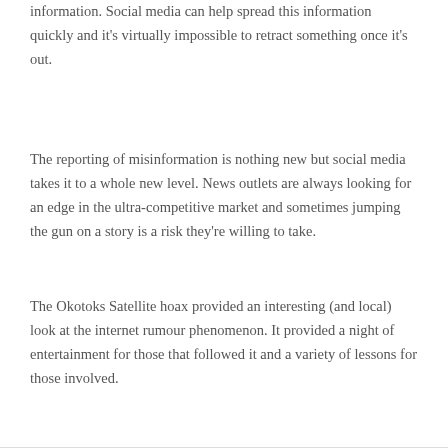information. Social media can help spread this information quickly and it's virtually impossible to retract something once it's out.
The reporting of misinformation is nothing new but social media takes it to a whole new level. News outlets are always looking for an edge in the ultra-competitive market and sometimes jumping the gun on a story is a risk they're willing to take.
The Okotoks Satellite hoax provided an interesting (and local) look at the internet rumour phenomenon. It provided a night of entertainment for those that followed it and a variety of lessons for those involved.
Share on social: